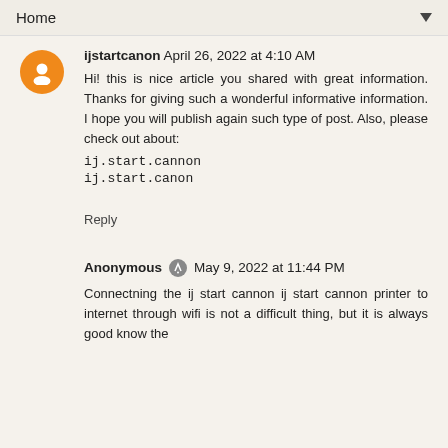Home ▼
ijstartcanon April 26, 2022 at 4:10 AM
Hi! this is nice article you shared with great information. Thanks for giving such a wonderful informative information. I hope you will publish again such type of post. Also, please check out about:
ij.start.cannon
ij.start.canon
Reply
Anonymous May 9, 2022 at 11:44 PM
Connectning the ij start cannon ij start cannon printer to internet through wifi is not a difficult thing, but it is always good know the